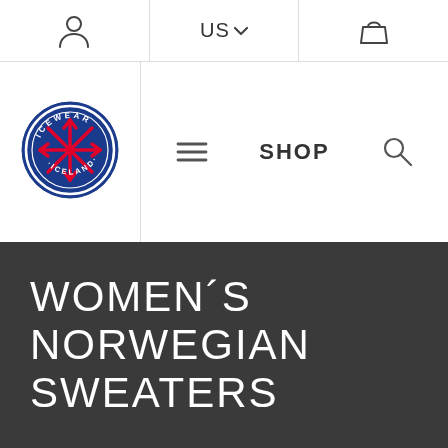[Figure (logo): Icewear Iceland circular logo with blue background, red snowflake, and white text]
US  ☰ SHOP
WOMEN´S NORWEGIAN SWEATERS